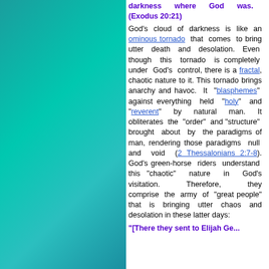darkness where God was. (Exodus 20:21)
God's cloud of darkness is like an ominous tornado that comes to bring utter death and desolation. Even though this tornado is completely under God's control, there is a fractal, chaotic nature to it. This tornado brings anarchy and havoc. It "blasphemes" against everything held "holy" and "reverent" by natural man. It obliterates the "order" and "structure" brought about by the paradigms of man, rendering those paradigms null and void (2 Thessalonians 2:7-8). God's green-horse riders understand this "chaotic" nature in God's visitation. Therefore, they comprise the army of "great people" that is bringing utter chaos and desolation in these latter days:
"There they sent to Elijah the...